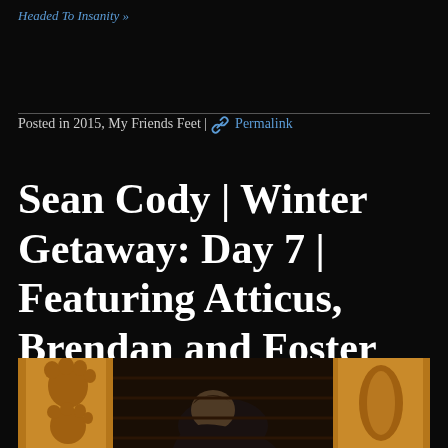Headed To Insanity »
Posted in 2015, My Friends Feet | 🔗 Permalink
Sean Cody | Winter Getaway: Day 7 | Featuring Atticus, Brendan and Foster
[Figure (photo): Photo showing a person with brown hair bending forward, between two large wooden carved posts with bear paw carvings, inside a log cabin setting.]